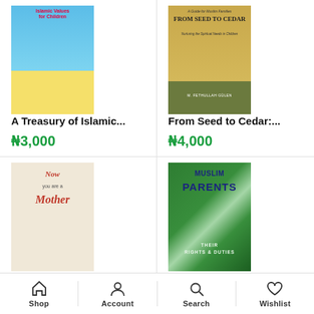[Figure (illustration): Book cover: A Treasury of Islamic Values for Children — colorful illustrated children's book with blue sky background]
A Treasury of Islamic...
₦3,000
[Figure (illustration): Book cover: From Seed to Cedar — A Guide for Muslim Families, Nurturing the Spiritual Needs in Children, by M. Fethullah Gülen, tan/olive cover with seedling]
From Seed to Cedar:...
₦4,000
[Figure (illustration): Book cover: Now You Are a Mother — beige cover with illustrated child in hat]
[Figure (illustration): Book cover: Muslim Parents Their Rights & Duties — green dramatic cover with bold blue and white text]
Shop  Account  Search  Wishlist